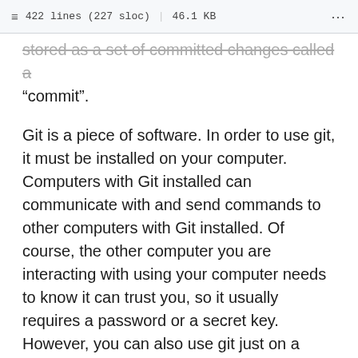422 lines (227 sloc) | 46.1 KB
stored as a set of committed changes called a "commit".
Git is a piece of software. In order to use git, it must be installed on your computer. Computers with Git installed can communicate with and send commands to other computers with Git installed. Of course, the other computer you are interacting with using your computer needs to know it can trust you, so it usually requires a password or a secret key. However, you can also use git just on a single computer. Git is a command line only program, which means you use it by typing in commands to the terminal or command prompt rather than using a graphical user interface. However, there are other programs that allow you to use Git with a graphical user interface. There are even websites that allow you